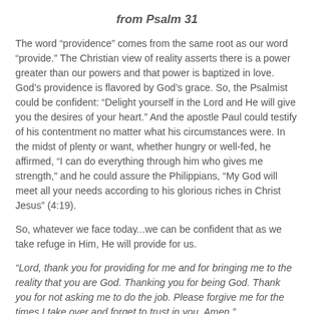from Psalm 31
The word “providence” comes from the same root as our word “provide.” The Christian view of reality asserts there is a power greater than our powers and that power is baptized in love. God’s providence is flavored by God’s grace. So, the Psalmist could be confident: “Delight yourself in the Lord and He will give you the desires of your heart.” And the apostle Paul could testify of his contentment no matter what his circumstances were. In the midst of plenty or want, whether hungry or well-fed, he affirmed, “I can do everything through him who gives me strength,” and he could assure the Philippians, “My God will meet all your needs according to his glorious riches in Christ Jesus” (4:19).
So, whatever we face today...we can be confident that as we take refuge in Him, He will provide for us.
“Lord, thank you for providing for me and for bringing me to the reality that you are God. Thanking you for being God. Thank you for not asking me to do the job. Please forgive me for the times I take over and forget to trust in you. Amen.”